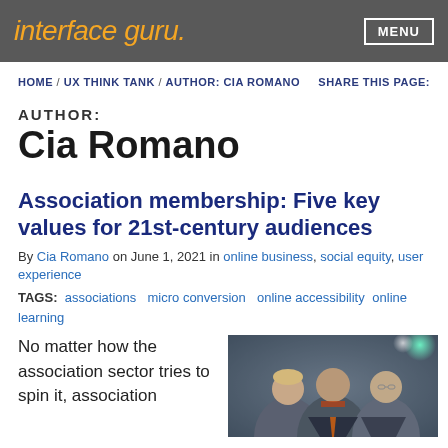interface guru.  MENU
HOME / UX THINK TANK / AUTHOR: CIA ROMANO   SHARE THIS PAGE:
AUTHOR:
Cia Romano
Association membership: Five key values for 21st-century audiences
By Cia Romano on June 1, 2021 in online business, social equity, user experience
TAGS:  associations  micro conversion  online accessibility  online learning
No matter how the association sector tries to spin it, association
[Figure (photo): Three business professionals (two men and a woman) posing together, photographed against a dark background with bokeh lighting effects]